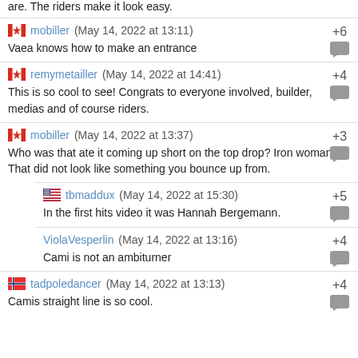are. The riders make it look easy.
mobiller (May 14, 2022 at 13:11) +6
Vaea knows how to make an entrance
remymetailler (May 14, 2022 at 14:41) +4
This is so cool to see! Congrats to everyone involved, builder, medias and of course riders.
mobiller (May 14, 2022 at 13:37) +3
Who was that ate it coming up short on the top drop? Iron woman. That did not look like something you bounce up from.
tbmaddux (May 14, 2022 at 15:30) +5
In the first hits video it was Hannah Bergemann.
ViolaVesperlin (May 14, 2022 at 13:16) +4
Cami is not an ambiturner
tadpoledancer (May 14, 2022 at 13:13) +4
Camis straight line is so cool.